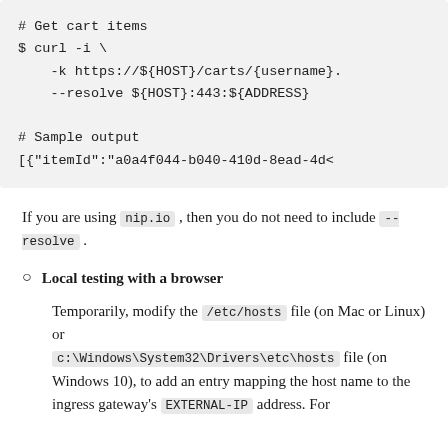[Figure (other): Code block showing curl command to get cart items and sample output]
If you are using nip.io , then you do not need to include --resolve .
Local testing with a browser
Temporarily, modify the /etc/hosts file (on Mac or Linux) or c:\Windows\System32\Drivers\etc\hosts file (on Windows 10), to add an entry mapping the host name to the ingress gateway's EXTERNAL-IP address. For